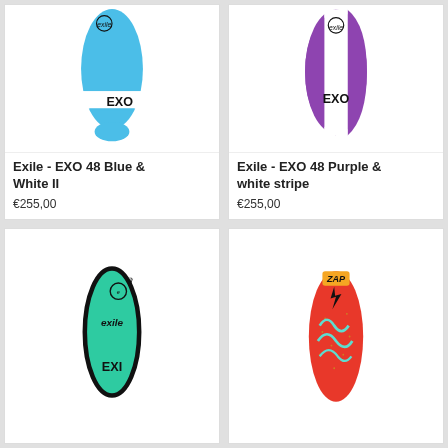[Figure (photo): Exile EXO 48 Blue and White II skimboard - blue oval board with white stripe and EXO text, blue fin at bottom]
Exile - EXO 48 Blue & White II
€255,00
[Figure (photo): Exile EXO 48 Purple and white stripe skimboard - purple oval board with white center stripe and EXO text]
Exile - EXO 48 Purple & white stripe
€255,00
[Figure (photo): Exile EXI skimboard - teal/mint oval board with black outline, exile logo and crown, EXI text at bottom]
[Figure (photo): Zap skimboard - red board with colorful wave/stripe graphic design and Zap logo at top]